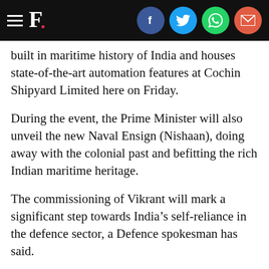F. [social icons: Facebook, Twitter, WhatsApp, Email]
built in maritime history of India and houses state-of-the-art automation features at Cochin Shipyard Limited here on Friday.
During the event, the Prime Minister will also unveil the new Naval Ensign (Nishaan), doing away with the colonial past and befitting the rich Indian maritime heritage.
The commissioning of Vikrant will mark a significant step towards India’s self-reliance in the defence sector, a Defence spokesman has said.
“It is a shining beacon of Atma Nirbharta in the defence sector,” he said.
“With the commissioning of ‘Vikrant’, India would join a select group of nations having the niche capability to indigenously design and build an aircraft carrier, which will be a real testimony to the Make in India thrust of Government of India.”